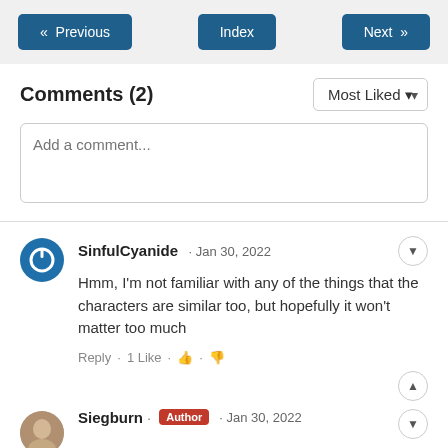« Previous  Index  Next »
Comments (2)
Add a comment...
SinfulCyanide · Jan 30, 2022
Hmm, I'm not familiar with any of the things that the characters are similar too, but hopefully it won't matter too much
Reply · 1 Like
Siegburn · Author · Jan 30, 2022